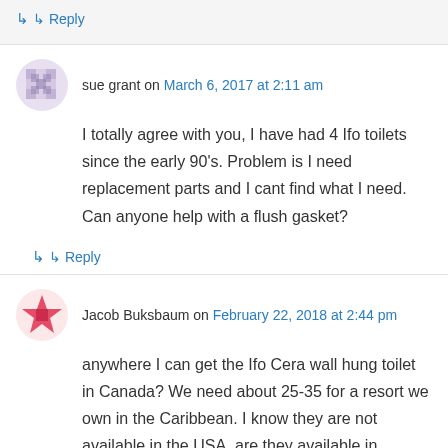↳ Reply
sue grant on March 6, 2017 at 2:11 am
I totally agree with you, I have had 4 Ifo toilets since the early 90's. Problem is I need replacement parts and I cant find what I need. Can anyone help with a flush gasket?
↳ Reply
Jacob Buksbaum on February 22, 2018 at 2:44 pm
anywhere I can get the Ifo Cera wall hung toilet in Canada? We need about 25-35 for a resort we own in the Caribbean. I know they are not available in the USA, are they available in